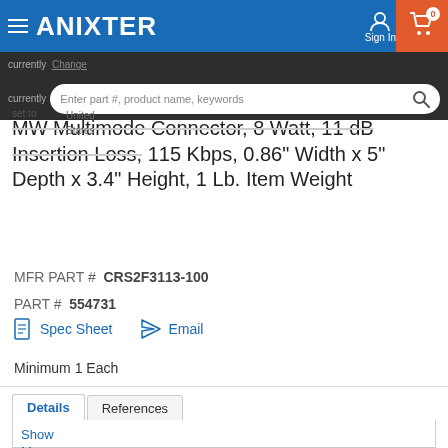ANIXTER — Sign In — Cart (0)
currently — United States — Enter part #, product name, keywords
MW Multimode Connector, 8 Watt, 11 dB Insertion Loss, 115 Kbps, 0.86" Width x 5" Depth x 3.4" Height, 1 Lb. Item Weight
MFR PART # CRS2F3113-100
PART # 554731
Spec Sheet   Email
Minimum 1 Each
| Details | References |
| --- | --- |
| Show More |  |
| Specifications: |  |
Show More
Specifications: